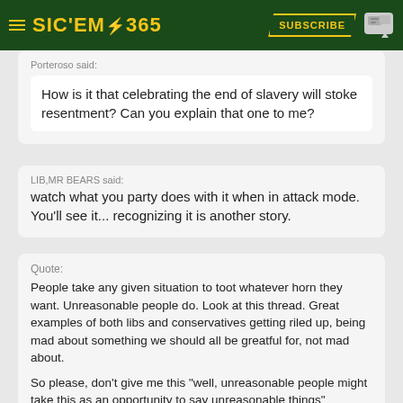[Figure (logo): SIC'EM 365 website header with dark green background, yellow hamburger menu icon, yellow and white SIC'EM 365 logo with lightning bolt, SUBSCRIBE button, and chat icon]
Porteroso said:
How is it that celebrating the end of slavery will stoke resentment? Can you explain that one to me?
LIB,MR BEARS said:
watch what you party does with it when in attack mode. You'll see it... recognizing it is another story.
Quote:
People take any given situation to toot whatever horn they want. Unreasonable people do. Look at this thread. Great examples of both libs and conservatives getting riled up, being mad about something we should all be greatful for, not mad about.

So please, don't give me this "well, unreasonable people might take this as an opportunity to say unreasonable things" because that is just how it is. That's what unreasonable people do. The rest of us can't just do nothing, to ensure loudmouth don't have anything to yap about.